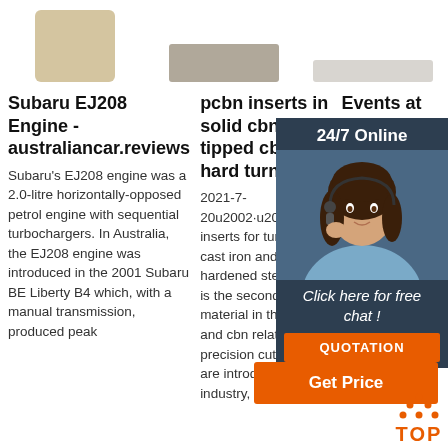[Figure (photo): Product images - three items shown at top: ceramic/mesh cylindrical object, flat rectangular piece, white rectangular object]
Subaru EJ208 Engine - australiancar.reviews
Subaru's EJ208 engine was a 2.0-litre horizontally-opposed petrol engine with sequential turbochargers. In Australia, the EJ208 engine was introduced in the 2001 Subaru BE Liberty B4 which, with a manual transmission, produced peak
pcbn inserts in solid cbn and tipped cbn for hard turning ...
2021-7-20u2002·u2002PCBN inserts for turning cast iron and hardened steel: pcbn is the second hardest material in the world, and cbn related high precision cutting tools are introduced to industry, achieved
Events at the IDM
2021-1-23u2002 and se hosted organis IDM an on the IDM ca Kindly events require an R.S.V.P or registration.
[Figure (other): Customer service overlay panel with agent photo, 24/7 Online label, Click here for free chat text, QUOTATION button]
Click here for free chat !
QUOTATION
Get Price
[Figure (other): TOP button with orange arrow dots and TOP text label]